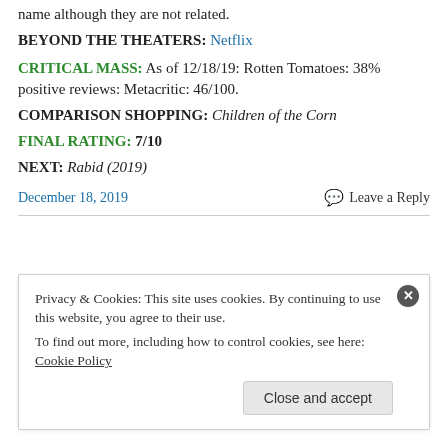name although they are not related.
BEYOND THE THEATERS: Netflix
CRITICAL MASS: As of 12/18/19: Rotten Tomatoes: 38% positive reviews: Metacritic: 46/100.
COMPARISON SHOPPING: Children of the Corn
FINAL RATING: 7/10
NEXT: Rabid (2019)
December 18, 2019
Leave a Reply
Privacy & Cookies: This site uses cookies. By continuing to use this website, you agree to their use. To find out more, including how to control cookies, see here: Cookie Policy
Close and accept